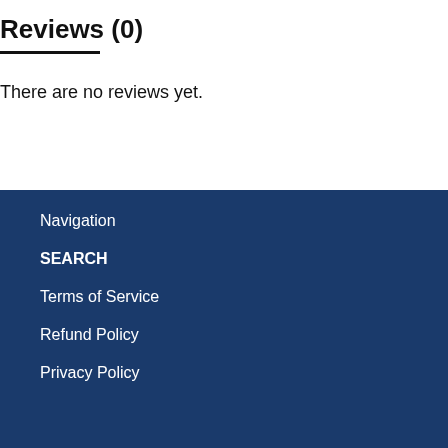Reviews (0)
There are no reviews yet.
Navigation
SEARCH
Terms of Service
Refund Policy
Privacy Policy